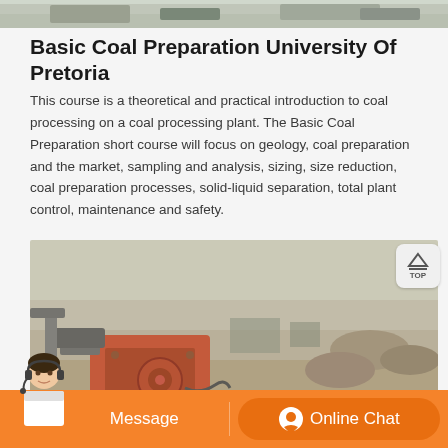[Figure (photo): Top strip showing a quarry or mining site with rocks and gravel]
Basic Coal Preparation University Of Pretoria
This course is a theoretical and practical introduction to coal processing on a coal processing plant. The Basic Coal Preparation short course will focus on geology, coal preparation and the market, sampling and analysis, sizing, size reduction, coal preparation processes, solid-liquid separation, total plant control, maintenance and safety.
[Figure (photo): Mining equipment (red jaw crusher or similar) in an open field or mine site with earthen background]
[Figure (other): TOP navigation button with upward arrow icon]